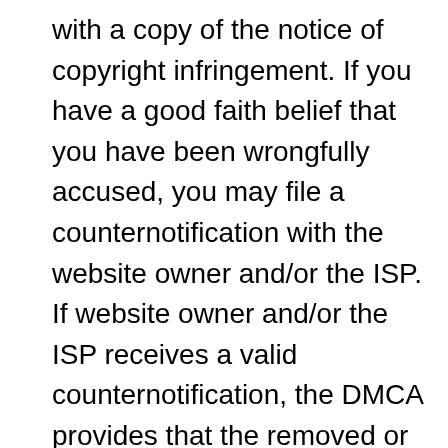with a copy of the notice of copyright infringement. If you have a good faith belief that you have been wrongfully accused, you may file a counternotification with the website owner and/or the ISP. If website owner and/or the ISP receives a valid counternotification, the DMCA provides that the removed or blocked information will be restored or access re-enabled.
The website owner and/or the ISP will replace the removed material and cease disabling access to it in not less than 10, nor more than 14, business days following